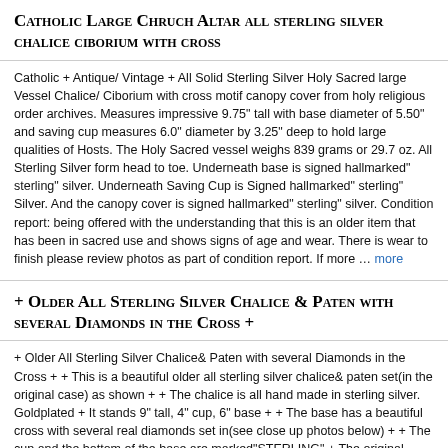Catholic Large Chruch Altar all sterling silver chalice ciborium with cross
Catholic + Antique/ Vintage + All Solid Sterling Silver Holy Sacred large Vessel Chalice/ Ciborium with cross motif canopy cover from holy religious order archives. Measures impressive 9.75" tall with base diameter of 5.50" and saving cup measures 6.0" diameter by 3.25" deep to hold large qualities of Hosts. The Holy Sacred vessel weighs 839 grams or 29.7 oz. All Sterling Silver form head to toe. Underneath base is signed hallmarked" sterling" silver. Underneath Saving Cup is Signed hallmarked" sterling" Silver. And the canopy cover is signed hallmarked" sterling" silver. Condition report: being offered with the understanding that this is an older item that has been in sacred use and shows signs of age and wear. There is wear to finish please review photos as part of condition report. If more ... more
+ Older All Sterling Silver Chalice & Paten with several Diamonds in the Cross +
+ Older All Sterling Silver Chalice& Paten with several Diamonds in the Cross + + This is a beautiful older all sterling silver chalice& paten set(in the original case) as shown + + The chalice is all hand made in sterling silver. Goldplated + It stands 9" tall, 4" cup, 6" base + + The base has a beautiful cross with several real diamonds set in(see close up photos below) + + The cup and the bottom of the base are marked"STERLING" + The original priests name is engraved on the bottom + + The original paten is included. Also all sterling silver, all goldplated, 6" diameter, nice and sturdy, no dings, no dents + A well preserved chalice& paten set in very good original condition + Both come inside the original case as